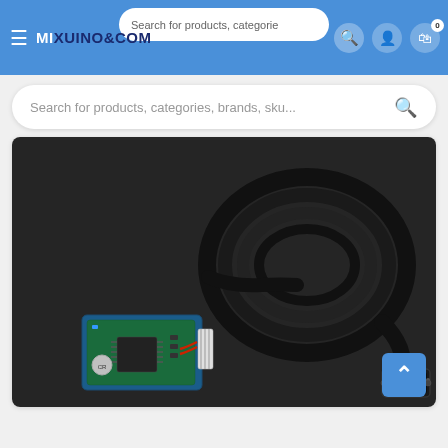MIXUINO.COM — Search for products, categories, brands, sku...
Search for products, categories, brands, sku...
[Figure (photo): A blue Arduino-compatible circuit board with a flat ribbon cable connector, placed on a dark surface next to a coiled black USB/power cable with a DB9 serial connector on one end.]